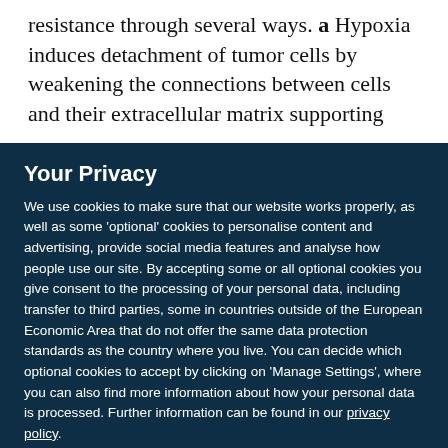resistance through several ways. a Hypoxia induces detachment of tumor cells by weakening the connections between cells and their extracellular matrix supporting
Your Privacy
We use cookies to make sure that our website works properly, as well as some 'optional' cookies to personalise content and advertising, provide social media features and analyse how people use our site. By accepting some or all optional cookies you give consent to the processing of your personal data, including transfer to third parties, some in countries outside of the European Economic Area that do not offer the same data protection standards as the country where you live. You can decide which optional cookies to accept by clicking on 'Manage Settings', where you can also find more information about how your personal data is processed. Further information can be found in our privacy policy.
Accept all cookies
Manage preferences